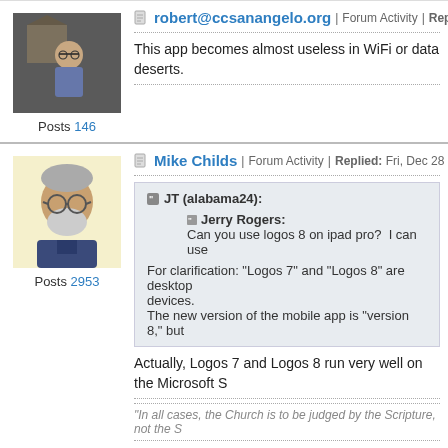robert@ccsanangelo.org | Forum Activity | Replied: Wed, Dec 1...
This app becomes almost useless in WiFi or data deserts.
Posts 146
Mike Childs | Forum Activity | Replied: Fri, Dec 28 2018 9:34 AM
JT (alabama24): Jerry Rogers: Can you use logos 8 on ipad pro? I can use... For clarification: "Logos 7" and "Logos 8" are desktop... The new version of the mobile app is "version 8," but...
Actually, Logos 7 and Logos 8 run very well on the Microsoft S...
"In all cases, the Church is to be judged by the Scripture, not the S...
Posts 2953
Mike Childs | Forum Activity | Replied: Fri, Dec 28 2018 9:35 AM
Kevin,